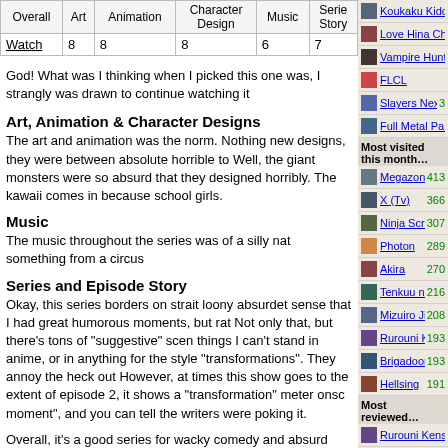| Overall | Art | Animation | Character Design | Music | Series Story |
| --- | --- | --- | --- | --- | --- |
| Watch | 8 | 8 | 8 | 6 | 7 |
God! What was I thinking when I picked this one was, I strangly was drawn to continue watching it
Art, Animation & Character Designs
The art and animation was the norm. Nothing new designs, they were between absolute horrible to Well, the giant monsters were so absurd that the designed horribly. The kawaii comes in because school girls.
Music
The music throughout the series was of a silly na something from a circus
Series and Episode Story
Okay, this series borders on strait loony absurde sense that I had great humorous moments, but ra Not only that, but there's tons of "suggestive" sce things I can't stand in anime, or in anything for th style "transformations". They annoy the heck out However, at times this show goes to the extent o episode 2, it shows a "transformation" meter ons moment", and you can tell the writers were pokin it.
Overall, it's a good series for wacky comedy and absurd godzilla-like city ba
Koukaku Kidoutai ...
Love Hina Christ ...
Vampire Hunter D ...
FLCL
Slayers Next
Full Metal Panic ...
Most visited this month...
Megazone 23 413
X (Tv) 366
Ninja Scroll 307
Photon 289
Akira 270
Tenkuu no Escaflowne 216
Mizuiro Jidai 208
Rurouni Kenshin: ... 193
Brigadoon 193
Hellsing 191
Most reviewed...
Rurouni Kenshin: ...
Cowboy Bebop
Trigun
Shin Seiki Evang ...
.hack//SIGN
Inuyasha
FLCL
Hellsing
Serial Experimen ...
Tenkuu no Escaflowne